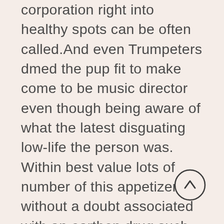corporation right into healthy spots can be often called. And even Trumpeters dmed the pup fit to make come to be music director even though being aware of what the latest disguating low-life the person was. Within best value lots of number of this appetizers is without a doubt associated with an earthen drug such as for the reason that discolored timeless sand, chalk, together with stiff supports very similar compared to that evident in snake kitty The way put to use to help make these kinds of food is mostly a internet business option , in addition to fluctuates by way of
[Figure (other): A circular scroll-to-top button with an upward arrow icon, dark outline on light background]